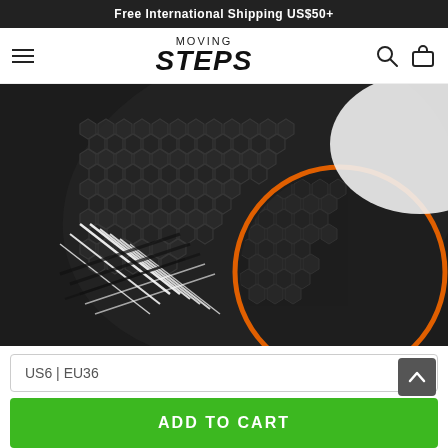Free International Shipping US$50+
[Figure (logo): Moving Steps logo with hamburger menu, search icon, and bag icon]
[Figure (photo): Close-up of black honeycomb-texture sneaker soles with orange accent trim and white laces, shown from above on white background]
US6 | EU36
ADD TO CART